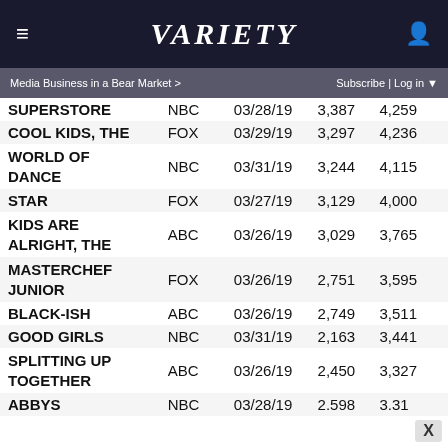VARIETY
Media Business in a Bear Market >   Subscribe | Log in ▼
| SHOW | NET | DATE | V1 | V2 |
| --- | --- | --- | --- | --- |
| SUPERSTORE | NBC | 03/28/19 | 3,387 | 4,259 |
| COOL KIDS, THE | FOX | 03/29/19 | 3,297 | 4,236 |
| WORLD OF DANCE | NBC | 03/31/19 | 3,244 | 4,115 |
| STAR | FOX | 03/27/19 | 3,129 | 4,000 |
| KIDS ARE ALRIGHT, THE | ABC | 03/26/19 | 3,029 | 3,765 |
| MASTERCHEF JUNIOR | FOX | 03/26/19 | 2,751 | 3,595 |
| BLACK-ISH | ABC | 03/26/19 | 2,749 | 3,511 |
| GOOD GIRLS | NBC | 03/31/19 | 2,163 | 3,441 |
| SPLITTING UP TOGETHER | ABC | 03/26/19 | 2,450 | 3,327 |
| ABBYS | NBC | 03/28/19 | 2.598 | 3.31 |